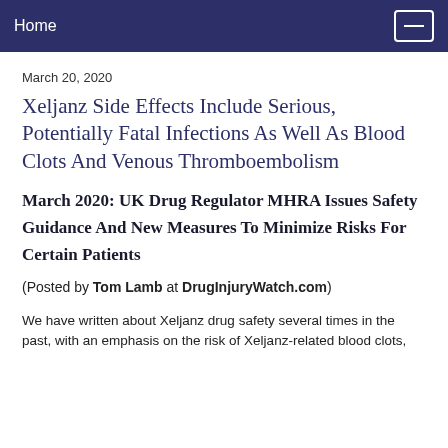Home
March 20, 2020
Xeljanz Side Effects Include Serious, Potentially Fatal Infections As Well As Blood Clots And Venous Thromboembolism
March 2020: UK Drug Regulator MHRA Issues Safety Guidance And New Measures To Minimize Risks For Certain Patients
(Posted by Tom Lamb at DrugInjuryWatch.com)
We have written about Xeljanz drug safety several times in the past, with an emphasis on the risk of Xeljanz-related blood clots,